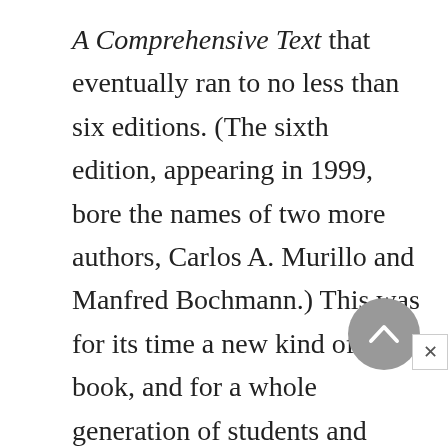A Comprehensive Text that eventually ran to no less than six editions. (The sixth edition, appearing in 1999, bore the names of two more authors, Carlos A. Murillo and Manfred Bochmann.) This was for its time a new kind of book, and for a whole generation of students and chemists it was a very novel approach to the teaching of inorganic chemistry. The one volume, for the first time, gave up-to-date descriptions of main-group and coordination chemistry with